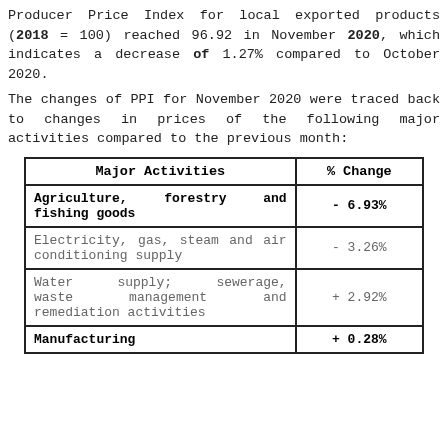Producer Price Index for local exported products (2018 = 100) reached 96.92 in November 2020, which indicates a decrease of 1.27% compared to October 2020.
The changes of PPI for November 2020 were traced back to changes in prices of the following major activities compared to the previous month:
| Major Activities | % Change |
| --- | --- |
| Agriculture, forestry and fishing goods | - 6.93% |
| Electricity, gas, steam and air conditioning supply | - 3.26% |
| Water supply; sewerage, waste management and remediation activities | + 2.92% |
| Manufacturing | + 0.28% |